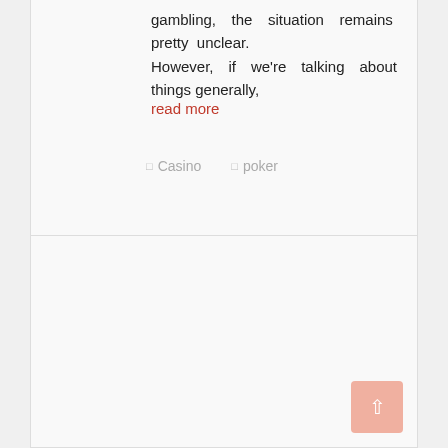gambling, the situation remains pretty unclear. However, if we're talking about things generally,
read more
Casino   poker
[Figure (other): Empty card/panel with a pink-red scroll-to-top button in the bottom right corner]